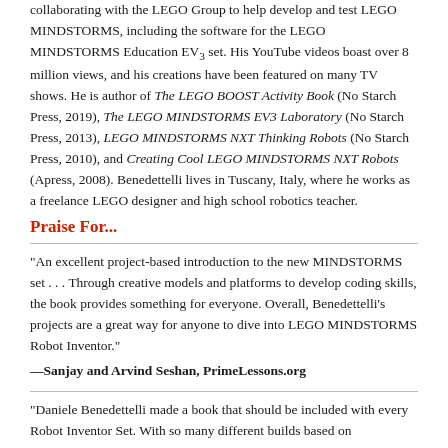collaborating with the LEGO Group to help develop and test LEGO MINDSTORMS, including the software for the LEGO MINDSTORMS Education EV3 set. His YouTube videos boast over 8 million views, and his creations have been featured on many TV shows. He is author of The LEGO BOOST Activity Book (No Starch Press, 2019), The LEGO MINDSTORMS EV3 Laboratory (No Starch Press, 2013), LEGO MINDSTORMS NXT Thinking Robots (No Starch Press, 2010), and Creating Cool LEGO MINDSTORMS NXT Robots (Apress, 2008). Benedettelli lives in Tuscany, Italy, where he works as a freelance LEGO designer and high school robotics teacher.
Praise For...
"An excellent project-based introduction to the new MINDSTORMS set . . . Through creative models and platforms to develop coding skills, the book provides something for everyone. Overall, Benedettelli's projects are a great way for anyone to dive into LEGO MINDSTORMS Robot Inventor."
—Sanjay and Arvind Seshan, PrimeLessons.org
"Daniele Benedettelli made a book that should be included with every Robot Inventor Set. With so many different builds based on...